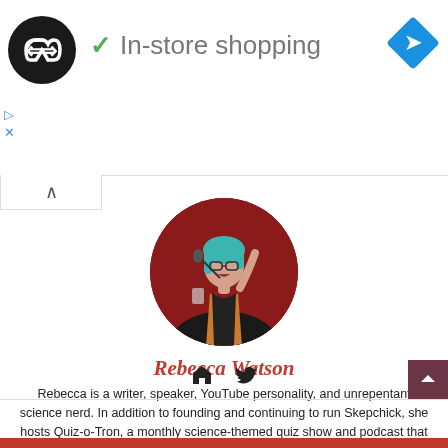[Figure (logo): Black circular logo with two overlapping arrows (infinity-style), next to a green checkmark and text 'In-store shopping', with a blue diamond navigation icon on the right]
In-store shopping
[Figure (photo): Circular profile photo of Rebecca Watson, a woman with teal/green hair and glasses, speaking into a microphone on stage with a red curtain background, wearing a black top and orange jacket]
Rebecca Watson
Rebecca is a writer, speaker, YouTube personality, and unrepentant science nerd. In addition to founding and continuing to run Skepchick, she hosts Quiz-o-Tron, a monthly science-themed quiz show and podcast that pits comedians against nerds. There is an asteroid named in her honor.